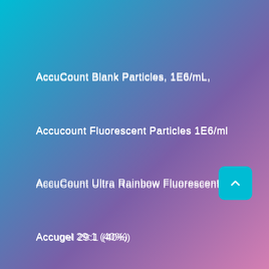AccuCount Blank Particles, 1E6/mL,
Accucount Fluorescent Particles 1E6/ml
AccuCount Ultra Rainbow Fluorescent
Accugel 29:1 (40%)
ACD HybEZ II Hybridization System 220v
AceQ SYBR qPCE Master Mix